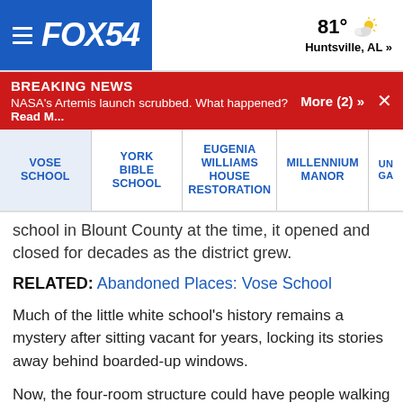FOX54 | 81° Huntsville, AL »
BREAKING NEWS
NASA's Artemis launch scrubbed. What happened? Read M... More (2) »
VOSE SCHOOL | YORK BIBLE SCHOOL | EUGENIA WILLIAMS HOUSE RESTORATION | MILLENNIUM MANOR | UN GA
school in Blount County at the time, it opened and closed for decades as the district grew.
RELATED: Abandoned Places: Vose School
Much of the little white school's history remains a mystery after sitting vacant for years, locking its stories away behind boarded-up windows.
Now, the four-room structure could have people walking its halls again as developers have a plan to convert it into apartments that preserve some of its historic elements.